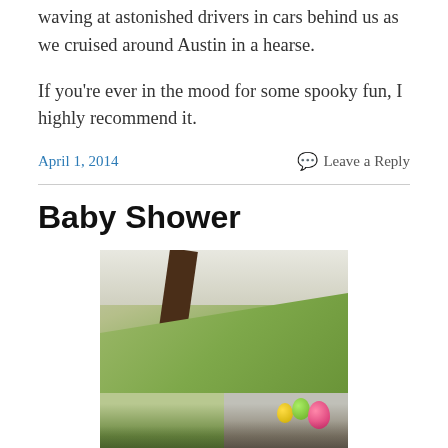waving at astonished drivers in cars behind us as we cruised around Austin in a hearse.
If you're ever in the mood for some spooky fun, I highly recommend it.
April 1, 2014
Leave a Reply
Baby Shower
[Figure (photo): Two stacked photos of a baby shower party. Top photo shows a room with a green wall and a dark wooden ceiling beam. Bottom two photos show people gathered at the party with colorful balloons visible.]